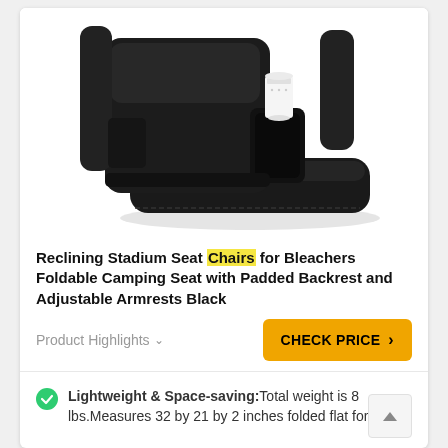[Figure (photo): Black reclining stadium seat chair with padded backrest, adjustable armrests, and a cup holder containing a white paper cup, photographed from a front-side angle on white background.]
Reclining Stadium Seat Chairs for Bleachers Foldable Camping Seat with Padded Backrest and Adjustable Armrests Black
Product Highlights ∨
CHECK PRICE ›
Lightweight & Space-saving:Total weight is 8 lbs.Measures 32 by 21 by 2 inches folded flat for